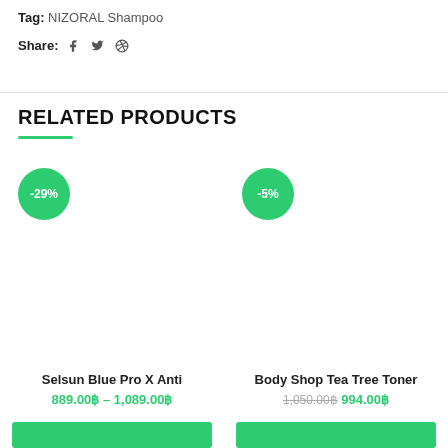Tag: NIZORAL Shampoo
Share: f 🐦 ⊕
RELATED PRODUCTS
[Figure (other): Product card for Selsun Blue Pro X Anti with -29% discount badge and heart wishlist icon]
Selsun Blue Pro X Anti
889.00฿ – 1,089.00฿
[Figure (other): Product card for Body Shop Tea Tree Toner with -5% discount badge and heart wishlist icon]
Body Shop Tea Tree Toner
1,050.00฿ 994.00฿